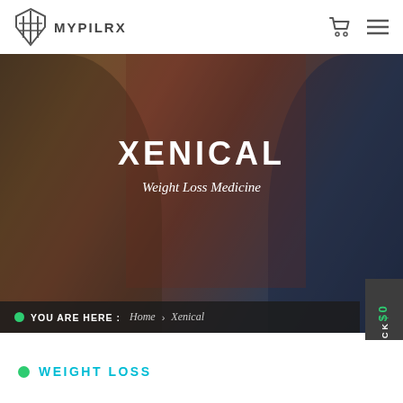MYPILRX
[Figure (photo): Background photo of three people sitting together, smiling and looking at something; man on left, woman in center wearing plaid shirt, man on right with beard.]
XENICAL
Weight Loss Medicine
YOU ARE HERE :  Home > Xenical
TRIAL PACK $0
WEIGHT LOSS